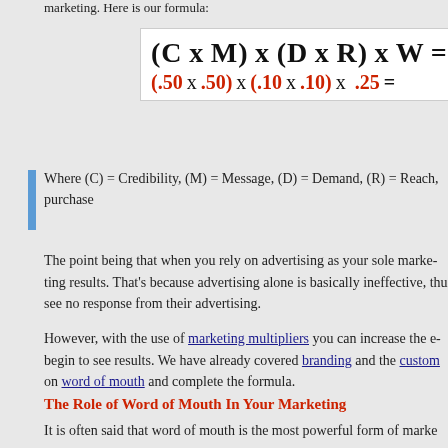marketing. Here is our formula:
Where (C) = Credibility, (M) = Message, (D) = Demand, (R) = Reach, purchase
The point being that when you rely on advertising as your sole marketing results. That's because advertising alone is basically ineffective, thus see no response from their advertising.
However, with the use of marketing multipliers you can increase the effectiveness and begin to see results. We have already covered branding and the customer experience, and now on word of mouth and complete the formula.
The Role of Word of Mouth In Your Marketing
It is often said that word of mouth is the most powerful form of marketing